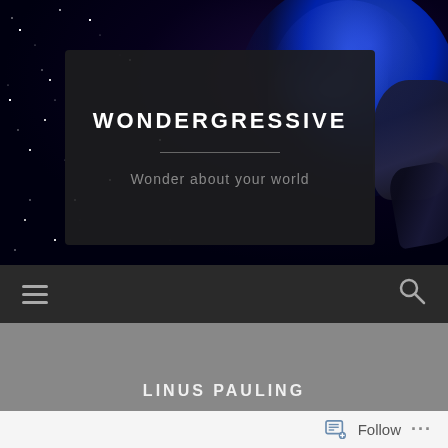[Figure (screenshot): Website header screenshot for Wondergressive blog. Dark space/galaxy background with blue nebula and spacecraft. Dark semi-transparent card overlay contains site title 'WONDERGRESSIVE' and tagline 'Wonder about your world'. Navigation bar with hamburger menu and search icon. Gray section below. Article title 'LINUS PAULING' and WordPress follow bar at bottom.]
WONDERGRESSIVE
Wonder about your world
LINUS PAULING
Follow